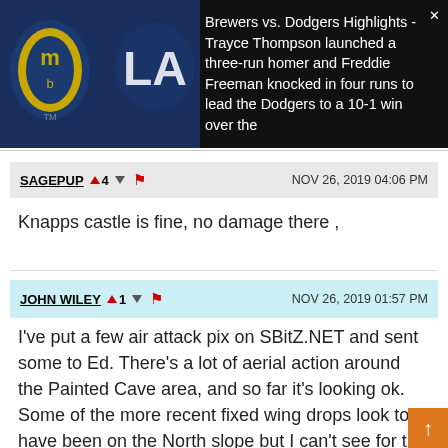[Figure (screenshot): Video thumbnail showing Milwaukee Brewers vs LA Dodgers logos on dark background]
Brewers vs. Dodgers Highlights - Trayce Thompson launched a three-run homer and Freddie Freeman knocked in four runs to lead the Dodgers to a 10-1 win over the
SAGEPUP  ▲4  ▼  ⚑  NOV 26, 2019 04:06 PM
Knapps castle is fine, no damage there ,
JOHN WILEY  ▲1  ▼  ⚑  NOV 26, 2019 01:57 PM
I've put a few air attack pix on SBitZ.NET and sent some to Ed. There's a lot of aerial action around the Painted Cave area, and so far it's looking ok. Some of the more recent fixed wing drops look to have been on the North slope but I can't see for the smoke. Hopefully they're just laying down a red